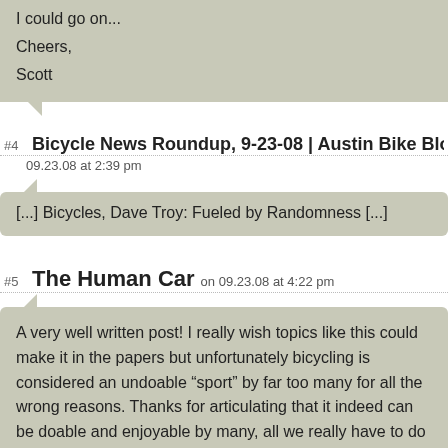I could go on...

Cheers,

Scott
#4 Bicycle News Roundup, 9-23-08 | Austin Bike Blo  on 09.23.08 at 2:39 pm
[...] Bicycles, Dave Troy: Fueled by Randomness [...]
#5 The Human Car  on 09.23.08 at 4:22 pm
A very well written post! I really wish topics like this could make it in the papers but unfortunately bicycling is considered an undoable “sport” by far too many for all the wrong reasons. Thanks for articulating that it indeed can be doable and enjoyable by many, all we really have to do is value our